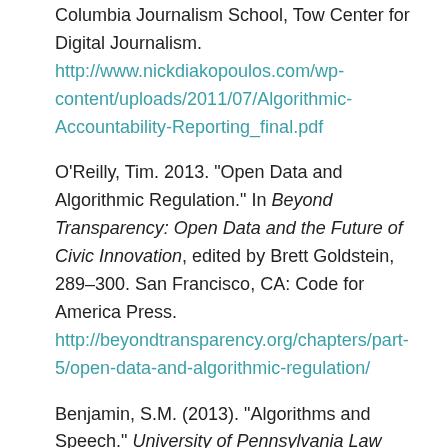Columbia Journalism School, Tow Center for Digital Journalism. http://www.nickdiakopoulos.com/wp-content/uploads/2011/07/Algorithmic-Accountability-Reporting_final.pdf
O'Reilly, Tim. 2013. "Open Data and Algorithmic Regulation." In Beyond Transparency: Open Data and the Future of Civic Innovation, edited by Brett Goldstein, 289–300. San Francisco, CA: Code for America Press. http://beyondtransparency.org/chapters/part-5/open-data-and-algorithmic-regulation/
Benjamin, S.M. (2013). "Algorithms and Speech." University of Pennsylvania Law Review 161(6): 1445–